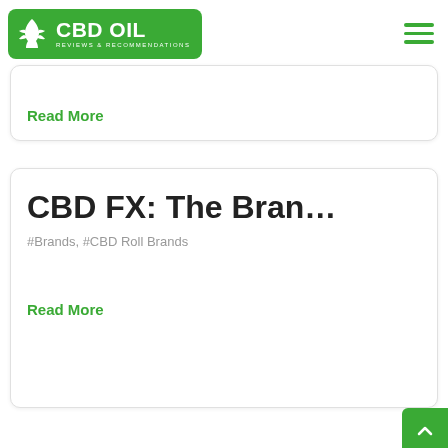[Figure (logo): CBD Oil Reviews & Recommendations logo — green rounded rectangle with cannabis leaf icon and text CBD OIL REVIEWS & RECOMMENDATIONS]
Read More
CBD FX: The Bran…
#Brands, #CBD Roll Brands
Read More